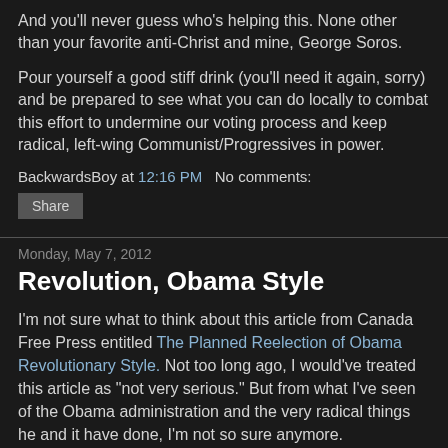And you'll never guess who's helping this. None other than your favorite anti-Christ and mine, George Soros.
Pour yourself a good stiff drink (you'll need it again, sorry) and be prepared to see what you can do locally to combat this effort to undermine our voting process and keep radical, left-wing Communist/Progressives in power.
BackwardsBoy at 12:16 PM   No comments:
Share
Monday, May 7, 2012
Revolution, Obama Style
I'm not sure what to think about this article from Canada Free Press entitled The Planned Reelection of Obama Revolutionary Style. Not too long ago, I would've treated this article as "not very serious." But from what I've seen of the Obama administration and the very radical things he and it have done, I'm not so sure anymore.